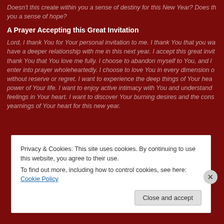Doesn't this create within you a sense of destiny for this New Year? Does this give you a sense of hope?
A Prayer Accepting this Great Invitation
Lord, I thank You for Your personal invitation to me. I thank You that you want to have a deeper relationship with me in this next year. I accept this great invitation. I thank You that You love me fully. I choose to abandon myself to You, and I choose to enter into prayer wholeheartedly. I choose to love You in every dimension of my being without reserve or regret. I want to experience the deep things of Your heart and the power of Your life. I want to enjoy active intimacy with You and understand the deep feelings in Your heart. I want to discover Your burning desires and the consuming yearnings of Your heart for this new year.
Privacy & Cookies: This site uses cookies. By continuing to use this website, you agree to their use.
To find out more, including how to control cookies, see here: Cookie Policy